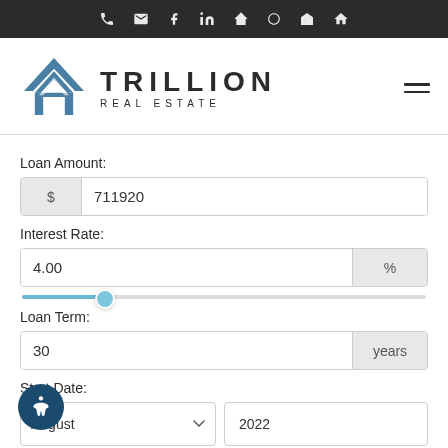[Figure (logo): Trillion Real Estate logo with house/chevron icon and hamburger menu]
Loan Amount:
711920
Interest Rate:
4.00
Loan Term:
30
Start Date:
August
2022